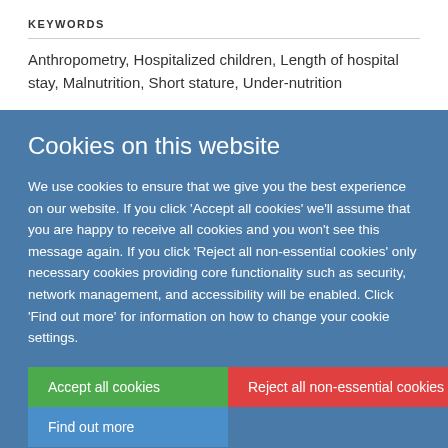KEYWORDS
Anthropometry, Hospitalized children, Length of hospital stay, Malnutrition, Short stature, Under-nutrition
Cookies on this website
We use cookies to ensure that we give you the best experience on our website. If you click 'Accept all cookies' we'll assume that you are happy to receive all cookies and you won't see this message again. If you click 'Reject all non-essential cookies' only necessary cookies providing core functionality such as security, network management, and accessibility will be enabled. Click 'Find out more' for information on how to change your cookie settings.
Accept all cookies | Reject all non-essential cookies | Find out more